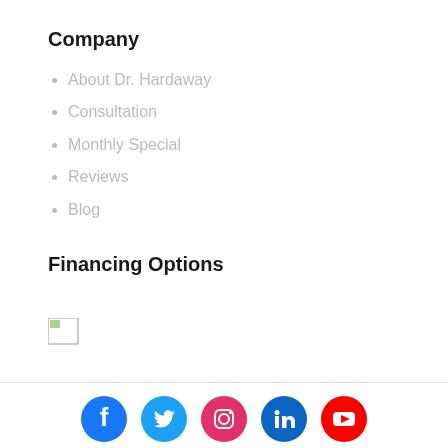Company
About Dr. Hardaway
Consultation
Monthly Special
Reviews
Blog
Financing Options
[Figure (other): Broken image placeholder for financing options logo]
[Figure (other): Social media icons row: Facebook, Twitter, Instagram, LinkedIn, YouTube]